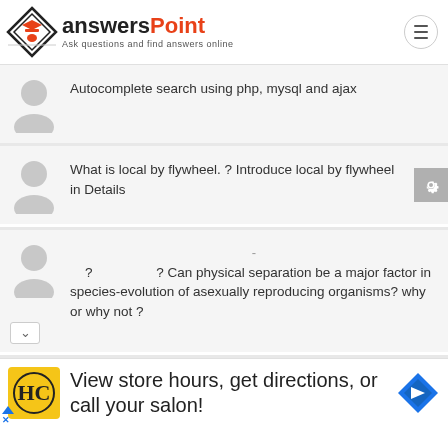[Figure (logo): AnswersPoint logo with diamond icon and tagline 'Ask questions and find answers online']
Autocomplete search using php, mysql and ajax
What is local by flywheel. ? Introduce local by flywheel in Details
- ? ? Can physical separation be a major factor in species-evolution of asexually reproducing organisms? why or why not ?
[Figure (infographic): Advertisement banner: HC logo (yellow), 'View store hours, get directions, or call your salon!' with blue navigation arrow icon]